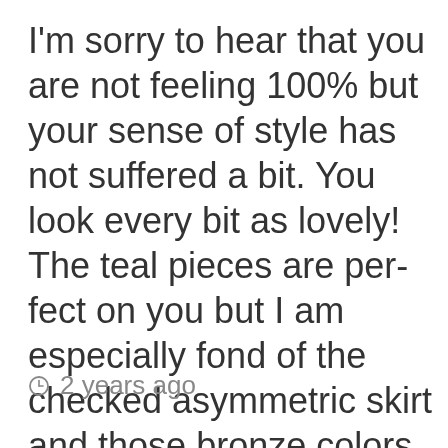I'm sorry to hear that you are not feeling 100% but your sense of style has not suffered a bit. You look every bit as lovely! The teal pieces are perfect on you but I am especially fond of the checked asymmetric skirt and those bronze colors on you. Wishing you all the best in 2020!
2 years ago